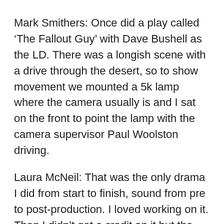Mark Smithers: Once did a play called ‘The Fallout Guy’ with Dave Bushell as the LD. There was a longish scene with a drive through the desert, so to show movement we mounted a 5k lamp where the camera usually is and I sat on the front to point the lamp with the camera supervisor Paul Woolston driving.
Laura McNeil: That was the only drama I did from start to finish, sound from pre to post-production. I loved working on it. Then I didn’t get a credit on it but the runners did. I almost cried it was awful as I found out when the end credits rolled in the edit suite.
Richard Stevenson: Looks like it’s still in the camera store. All the cable coiled up on the back. As far as I know it never went up to [Studio] B – no height in that studio